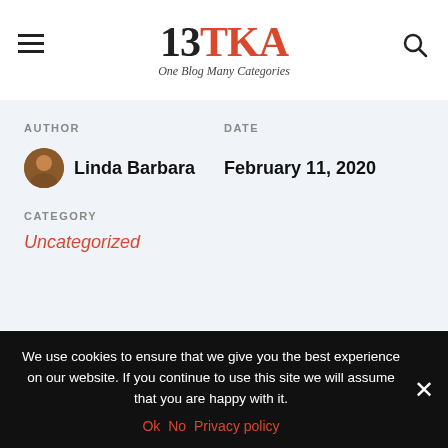13TKA — One Blog Many Categories
AUTHOR
Linda Barbara
DATE
February 11, 2020
CATEGORY
Uncategorized
[Figure (infographic): Social share buttons: share icon with arrow, Facebook (blue), Twitter (light blue), Google+ (orange-red), Pinterest (dark red), WhatsApp (green)]
We use cookies to ensure that we give you the best experience on our website. If you continue to use this site we will assume that you are happy with it.
Ok  No  Privacy policy